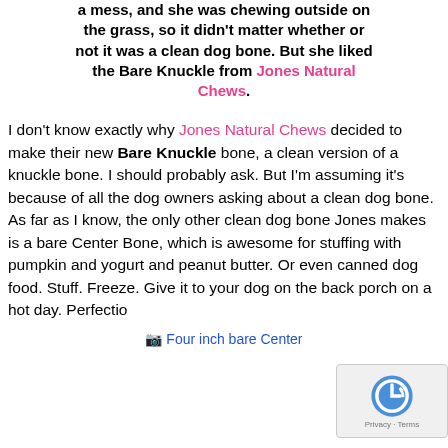a mess, and she was chewing outside on the grass, so it didn't matter whether or not it was a clean dog bone. But she liked the Bare Knuckle from Jones Natural Chews.
I don't know exactly why Jones Natural Chews decided to make their new Bare Knuckle bone, a clean version of a knuckle bone. I should probably ask. But I'm assuming it's because of all the dog owners asking about a clean dog bone. As far as I know, the only other clean dog bone Jones makes is a bare Center Bone, which is awesome for stuffing with pumpkin and yogurt and peanut butter. Or even canned dog food. Stuff. Freeze. Give it to your dog on the back porch on a hot day. Perfectio
Four inch bare Center